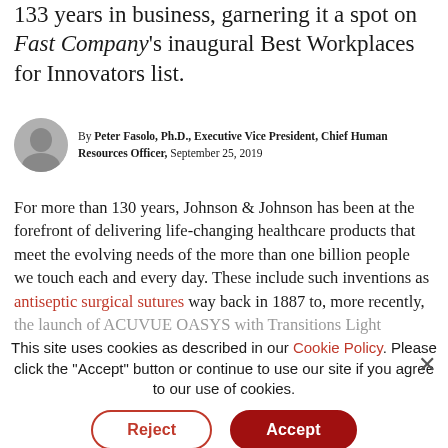133 years in business, garnering it a spot on Fast Company's inaugural Best Workplaces for Innovators list.
By Peter Fasolo, Ph.D., Executive Vice President, Chief Human Resources Officer, September 25, 2019
For more than 130 years, Johnson & Johnson has been at the forefront of delivering life-changing healthcare products that meet the evolving needs of the more than one billion people we touch each and every day. These include such inventions as antiseptic surgical sutures way back in 1887 to, more recently, the launch of ACUVUE OASYS with Transitions Light Intelligent Technology™.
This site uses cookies as described in our Cookie Policy. Please click the "Accept" button or continue to use our site if you agree to our use of cookies.